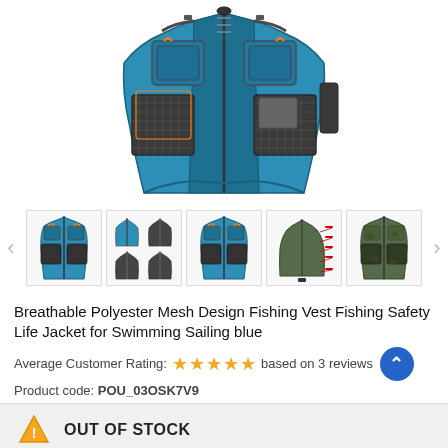[Figure (photo): Main product image of a breathable polyester mesh fishing vest in blue and grey with orange zipper pulls, multiple pockets, shown from the front on a white background]
[Figure (photo): Thumbnail gallery row showing 5 thumbnail views of the fishing vest: front blue view, multiple views (top/bottom), another blue variant, a diagram with annotations, and a camo variant]
Breathable Polyester Mesh Design Fishing Vest Fishing Safety Life Jacket for Swimming Sailing blue
Average Customer Rating: ★★★★★ based on 3 reviews
Product code: POU_03OSK7V9
OUT OF STOCK